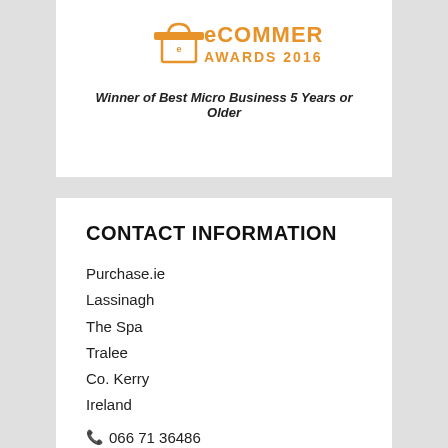[Figure (logo): eCommerce Awards 2016 logo with shopping bag icon and orange text]
Winner of Best Micro Business 5 Years or Older
CONTACT INFORMATION
Purchase.ie
Lassinagh
The Spa
Tralee
Co. Kerry
Ireland
066 71 36486